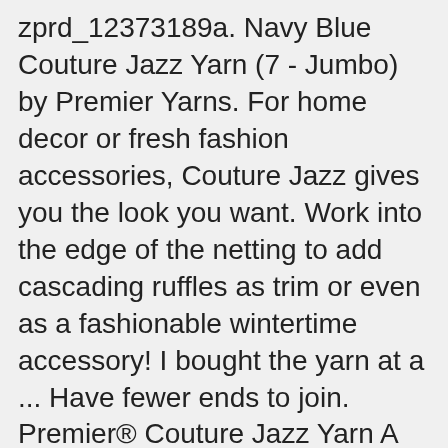zprd_12373189a. Navy Blue Couture Jazz Yarn (7 - Jumbo) by Premier Yarns. For home decor or fresh fashion accessories, Couture Jazz gives you the look you want. Work into the edge of the netting to add cascading ruffles as trim or even as a fashionable wintertime accessory! I bought the yarn at a ... Have fewer ends to join. Premier® Couture Jazz Yarn A blanket in an hour? This yarn is a favorite of arm knitters and can be used to make "big stitch" blankets and accessories. Share. Make a trendy cowl in 15 minutes, or a blanket in under an hour! 8072374, respectively) both at 8th Floor WeWork Aviation House, 125 Kingsway, London, WC2B 6NH, UK, 81% Acrylic 19% Polyamide, 200g (7.1oz), Super Chunky. What am I missing? Rated 3 out of 5 by Ks****** from Color is cut to minimum length